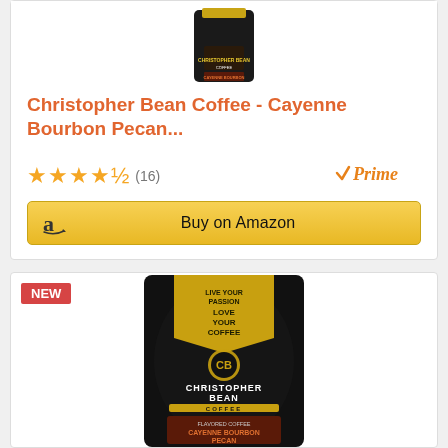[Figure (photo): Christopher Bean Coffee bag - Cayenne Bourbon Pecan, black bag, partially visible at top of card]
Christopher Bean Coffee - Cayenne Bourbon Pecan...
★★★★½ (16)
[Figure (logo): Amazon Prime logo - checkmark with Prime text in orange]
$12.99
Buy on Amazon
NEW
[Figure (photo): Christopher Bean Coffee bag - Cayenne Bourbon Pecan, black bag with gold banner reading LIVE YOUR PASSION LOVE YOUR COFFEE, Christopher Bean Coffee label, Cayenne Bourbon Pecan flavor label visible]